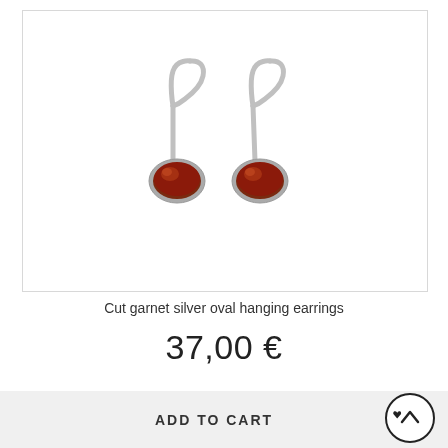[Figure (photo): Two silver hook earrings with oval dark red garnet gemstone pendants set in silver bezels, shown on white background]
Cut garnet silver oval hanging earrings
37,00 €
ADD TO CART